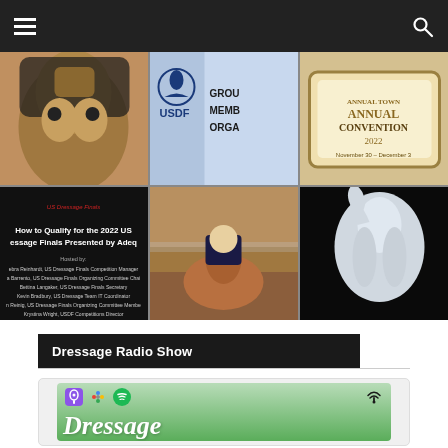Navigation bar with hamburger menu and search icon
[Figure (photo): Grid of 6 images: horse close-up, USDF Group Member Organization sign, Annual Convention 2022 November 30 - December 3, How to Qualify for the 2022 US Dressage Finals Presented by Adequan webinar slide, rider on chestnut horse, white horse on black background]
Dressage Radio Show
[Figure (screenshot): Dressage Radio Show podcast banner with Apple Podcasts, Google Podcasts, Spotify, and broadcast icons, with 'Dressage' in large italic script on green background]